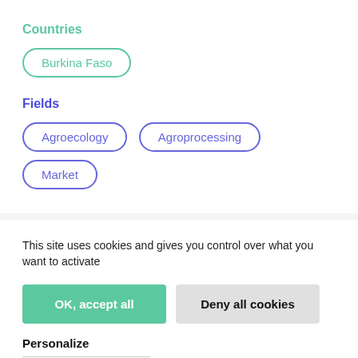Countries
Burkina Faso
Fields
Agroecology
Agroprocessing
Market
This site uses cookies and gives you control over what you want to activate
OK, accept all
Deny all cookies
Personalize